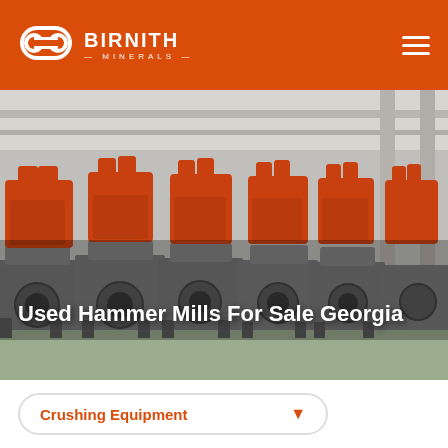BIRNITH MINERALS
[Figure (photo): Industrial hammer mills in a factory setting — rows of large red and grey milling machines on a factory floor with high ceiling and overhead cranes]
Used Hammer Mills For Sale Georgia
Crushing Equipment